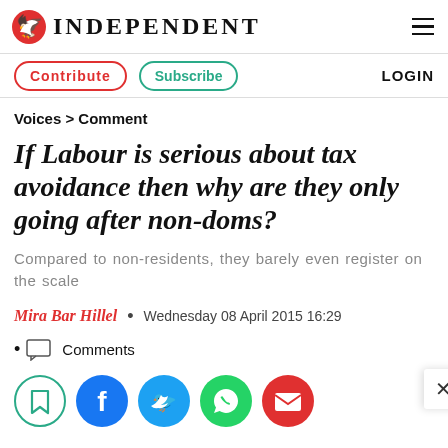INDEPENDENT
Contribute  Subscribe  LOGIN
Voices > Comment
If Labour is serious about tax avoidance then why are they only going after non-doms?
Compared to non-residents, they barely even register on the scale
Mira Bar Hillel  •  Wednesday 08 April 2015 16:29
Comments
[Figure (infographic): Social sharing icons: bookmark, Facebook, Twitter, WhatsApp, email]